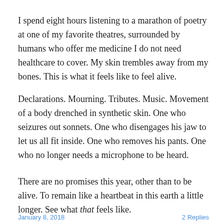I spend eight hours listening to a marathon of poetry at one of my favorite theatres, surrounded by humans who offer me medicine I do not need healthcare to cover. My skin trembles away from my bones. This is what it feels like to feel alive.
Declarations. Mourning. Tributes. Music. Movement of a body drenched in synthetic skin. One who seizures out sonnets. One who disengages his jaw to let us all fit inside. One who removes his pants. One who no longer needs a microphone to be heard.
There are no promises this year, other than to be alive. To remain like a heartbeat in this earth a little longer. See what that feels like.
January 8, 2018 … 2 Replies